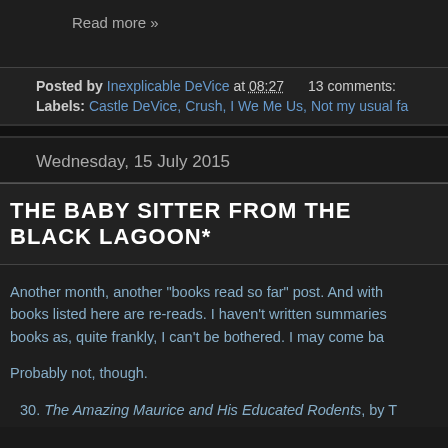Read more »
Posted by Inexplicable DeVice at 08:27    13 comments:
Labels: Castle DeVice, Crush, I We Me Us, Not my usual fa
Wednesday, 15 July 2015
The Baby Sitter From The Black Lagoon*
Another month, another "books read so far" post. And with books listed here are re-reads. I haven't written summaries books as, quite frankly, I can't be bothered. I may come ba
Probably not, though.
30. The Amazing Maurice and His Educated Rodents, by T